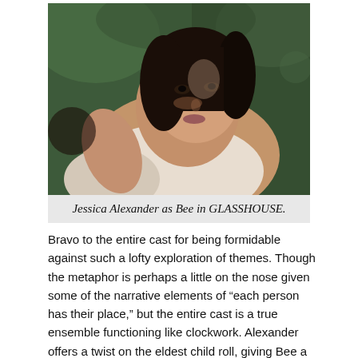[Figure (photo): Close-up portrait of a young woman with dark hair and striking features, looking to the side. Background shows blurred greenery/outdoor setting.]
Jessica Alexander as Bee in GLASSHOUSE.
Bravo to the entire cast for being formidable against such a lofty exploration of themes. Though the metaphor is perhaps a little on the nose given some of the narrative elements of “each person has their place,” but the entire cast is a true ensemble functioning like clockwork. Alexander offers a twist on the eldest child roll, giving Bee a reluctance to aspire beyond her daily chores and a desire for freedom; whereas Taljaard, as the (maybe) second oldest, carries the burden of responsibility like a weight around her neck. These two aren’t polar opposites for the sake of tension, but as an extension of the complexity of memory. One may confuse Pearce’s Mother for being cold,